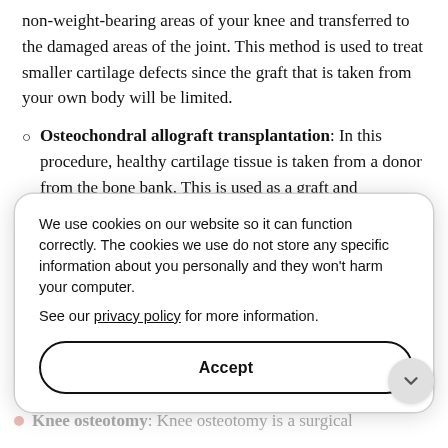non-weight-bearing areas of your knee and transferred to the damaged areas of the joint. This method is used to treat smaller cartilage defects since the graft that is taken from your own body will be limited.
Osteochondral allograft transplantation: In this procedure, healthy cartilage tissue is taken from a donor from the bone bank. This is used as a graft and transplanted to the area of cartilage defect.
Knee replacement surgery: This is a surgery commonly employed for the treatment of knee joint arthritis or damage to the knee joint, such as trauma or fracture. In this surgery, the damaged articulating parts of the knee joint are removed and replaced with artificial prostheses to restore normal knee function.
Knee osteotomy: Knee osteotomy is a surgical
We use cookies on our website so it can function correctly. The cookies we use do not store any specific information about you personally and they won't harm your computer.
See our privacy policy for more information.
Accept